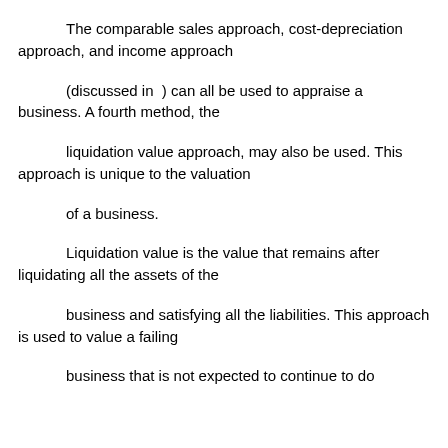The comparable sales approach, cost-depreciation approach, and income approach
(discussed in  ) can all be used to appraise a business. A fourth method, the
liquidation value approach, may also be used. This approach is unique to the valuation
of a business.
Liquidation value is the value that remains after liquidating all the assets of the
business and satisfying all the liabilities. This approach is used to value a failing
business that is not expected to continue to do